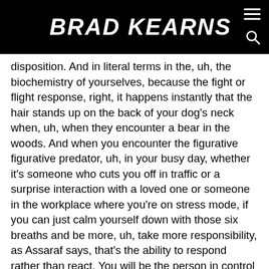BRAD KEARNS
disposition. And in literal terms in the, uh, the biochemistry of yourselves, because the fight or flight response, right, it happens instantly that the hair stands up on the back of your dog's neck when, uh, when they encounter a bear in the woods. And when you encounter the figurative figurative predator, uh, in your busy day, whether it's someone who cuts you off in traffic or a surprise interaction with a loved one or someone in the workplace where you’re on stress mode, if you can just calm yourself down with those six breaths and be more, uh, take more responsibility, as Assaraf says, that's the ability to respond rather than react. You will be the person in control the person in the driver’s seat, rather than a victim of all the stressful, uh, negative producing, uh, feedback and, um, uh, inputs we get, uh, throughout our day-to-day life.
Brad (29:28):
So the brief health tips, number one, diet get rid of the junk, the big three sugars, grains and refined industrial